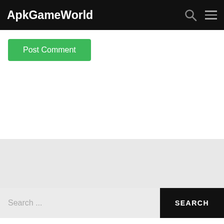ApkGameWorld
Post Comment
Search ...
Recent Posts:
Minecraft PE 1.19.30.21
Minecraft 1.19.20.02